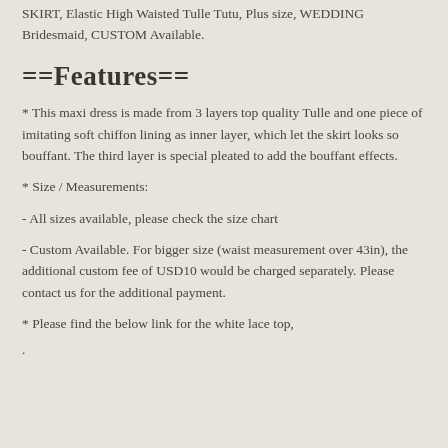SKIRT, Elastic High Waisted Tulle Tutu, Plus size, WEDDING Bridesmaid, CUSTOM Available.
==Features==
* This maxi dress is made from 3 layers top quality Tulle and one piece of imitating soft chiffon lining as inner layer, which let the skirt looks so bouffant. The third layer is special pleated to add the bouffant effects.
* Size / Measurements:
- All sizes available, please check the size chart
- Custom Available. For bigger size (waist measurement over 43in), the additional custom fee of USD10 would be charged separately. Please contact us for the additional payment.
* Please find the below link for the white lace top,
.